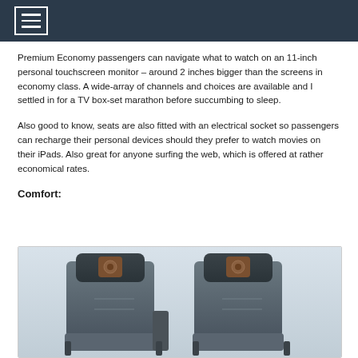Premium Economy passengers can navigate what to watch on an 11-inch personal touchscreen monitor – around 2 inches bigger than the screens in economy class. A wide-array of channels and choices are available and I settled in for a TV box-set marathon before succumbing to sleep.
Also good to know, seats are also fitted with an electrical socket so passengers can recharge their personal devices should they prefer to watch movies on their iPads. Also great for anyone surfing the web, which is offered at rather economical rates.
Comfort:
[Figure (photo): Two Premium Economy aircraft seats with dark grey upholstery and brown/copper headrests with airline logo visible on headrest panels, tray tables in upright position, light grey background.]